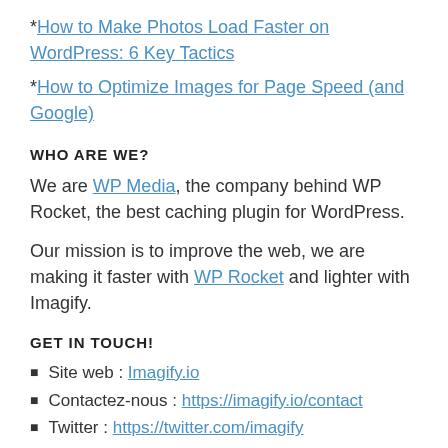*How to Make Photos Load Faster on WordPress: 6 Key Tactics
*How to Optimize Images for Page Speed (and Google)
WHO ARE WE?
We are WP Media, the company behind WP Rocket, the best caching plugin for WordPress.
Our mission is to improve the web, we are making it faster with WP Rocket and lighter with Imagify.
GET IN TOUCH!
Site web : Imagify.io
Contactez-nous : https://imagify.io/contact
Twitter : https://twitter.com/imagify